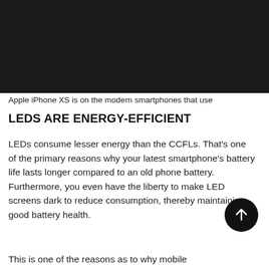[Figure (photo): Dark/black background image at the top of the page, likely a photo of a smartphone screen or dark scene]
Apple iPhone XS is on the modern smartphones that use
LEDS ARE ENERGY-EFFICIENT
LEDs consume lesser energy than the CCFLs. That’s one of the primary reasons why your latest smartphone’s battery life lasts longer compared to an old phone battery. Furthermore, you even have the liberty to make LED screens dark to reduce consumption, thereby maintaining good battery health.
This is one of the reasons as to why mobile